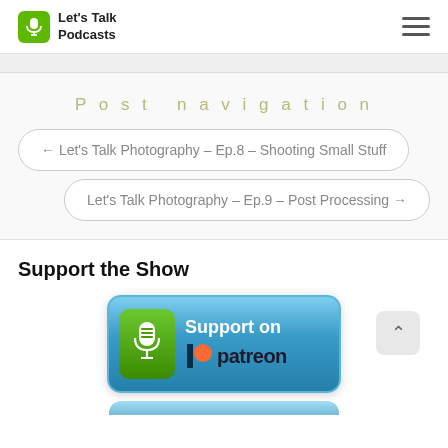Let's Talk Podcasts
Post navigation
← Let's Talk Photography – Ep.8 – Shooting Small Stuff
Let's Talk Photography – Ep.9 – Post Processing →
Support the Show
[Figure (logo): Support on Patreon button with microphone icon and Patreon logo]